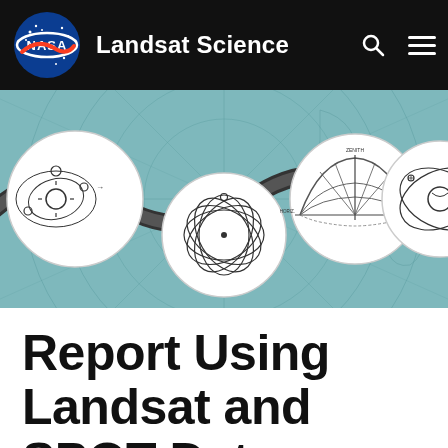Landsat Science
[Figure (illustration): Banner image with teal/blue polar map background showing orbital diagram circles connected by a sinusoidal wave path. Four white circular medallions contain hand-drawn scientific diagrams: orbital mechanics around a sun, chaotic orbital paths, a dome/hemisphere diagram, and satellite orbit around Earth.]
Report Using Landsat and SPOT Data